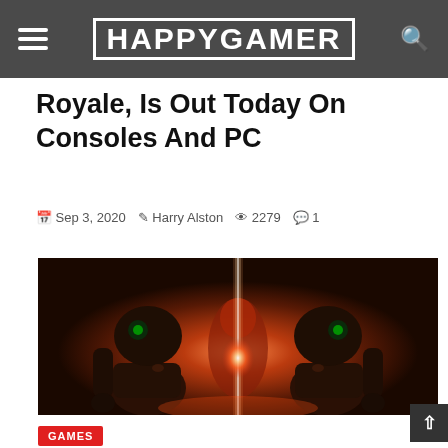HAPPYGAMER
Royale, Is Out Today On Consoles And PC
Sep 3, 2020  Harry Alston  2279  1
[Figure (photo): Dark sci-fi game screenshot showing robotic or alien figures with glowing red/orange light emanating from the center, dramatic lighting against a dark background]
GAMES